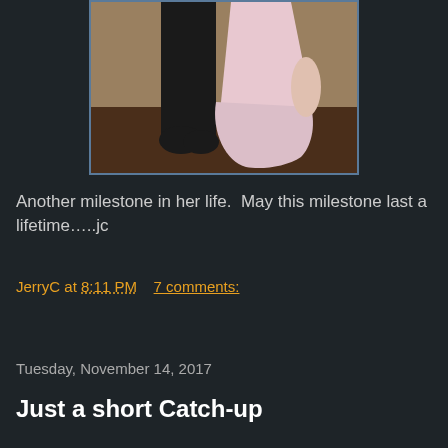[Figure (photo): Partial view of two people dancing or standing together — one wearing dark pants/boots, the other in a light pink/white dress or skirt, on a wooden floor.]
Another milestone in her life.  May this milestone last a lifetime…..jc
JerryC at 8:11 PM    7 comments:
Share
Tuesday, November 14, 2017
Just a short Catch-up